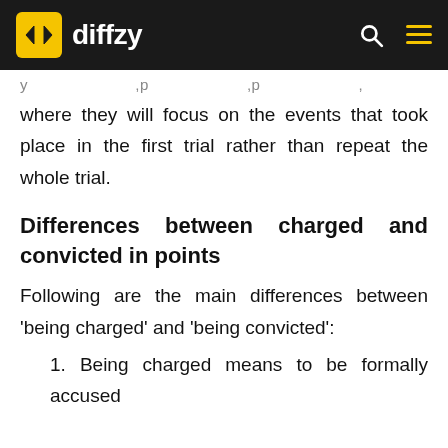diffzy
where they will focus on the events that took place in the first trial rather than repeat the whole trial.
Differences between charged and convicted in points
Following are the main differences between 'being charged' and 'being convicted':
1. Being charged means to be formally accused